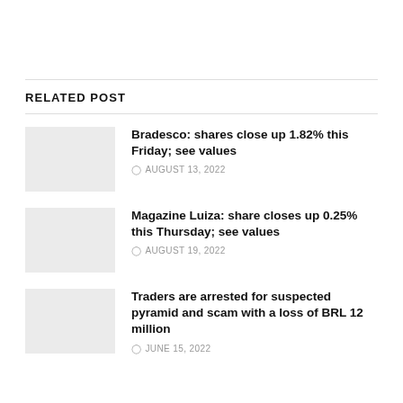RELATED POST
Bradesco: shares close up 1.82% this Friday; see values — AUGUST 13, 2022
Magazine Luiza: share closes up 0.25% this Thursday; see values — AUGUST 19, 2022
Traders are arrested for suspected pyramid and scam with a loss of BRL 12 million — JUNE 15, 2022